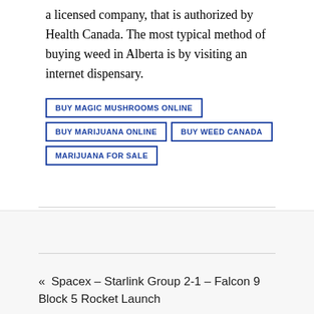a licensed company, that is authorized by Health Canada. The most typical method of buying weed in Alberta is by visiting an internet dispensary.
BUY MAGIC MUSHROOMS ONLINE
BUY MARIJUANA ONLINE
BUY WEED CANADA
MARIJUANA FOR SALE
« Spacex – Starlink Group 2-1 – Falcon 9 Block 5 Rocket Launch